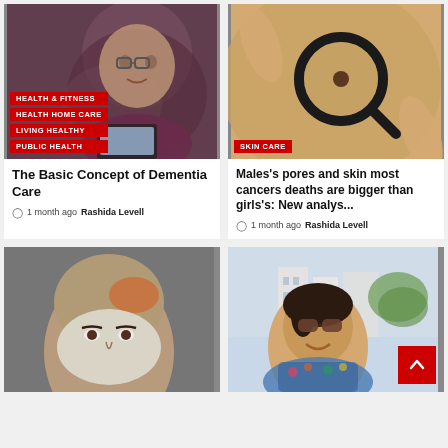[Figure (photo): Elderly woman smiling, holding a tablet device]
HEALTH & FITNESS
HEALTH HOME CARE
LIVING HEALTHY
PUBLIC HEALTH
The Basic Concept of Dementia Care
1 month ago  Rashida Levell
[Figure (photo): Close-up of skin with a mole being examined with a magnifying glass]
SKIN CARE
Males's pores and skin most cancers deaths are bigger than girls's: New analys...
1 month ago  Rashida Levell
[Figure (photo): Man with shaved head and face mask/treatment]
[Figure (photo): Woman with sunglasses smiling outdoors on a street]